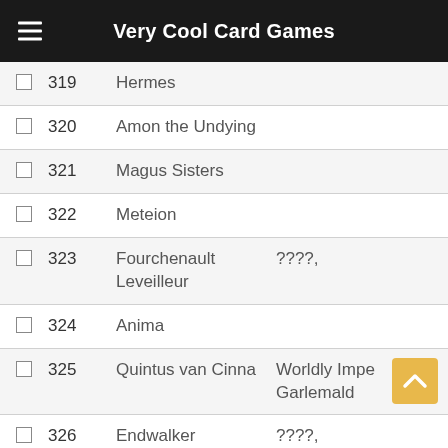Very Cool Card Games
|  | Number | Name | Extra |
| --- | --- | --- | --- |
| □ | 319 | Hermes |  |
| □ | 320 | Amon the Undying |  |
| □ | 321 | Magus Sisters |  |
| □ | 322 | Meteion |  |
| □ | 323 | Fourchenault Leveilleur | ????, |
| □ | 324 | Anima |  |
| □ | 325 | Quintus van Cinna | Worldly Impe... Garlemald |
| □ | 326 | Endwalker Alphinaud & | ????, |